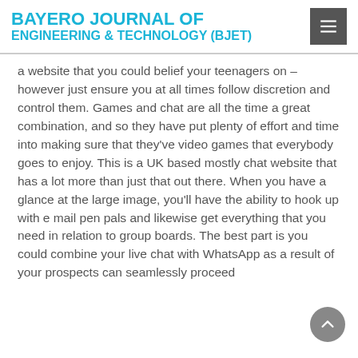BAYERO JOURNAL OF ENGINEERING & TECHNOLOGY (BJET)
a website that you could belief your teenagers on – however just ensure you at all times follow discretion and control them. Games and chat are all the time a great combination, and so they have put plenty of effort and time into making sure that they've video games that everybody goes to enjoy. This is a UK based mostly chat website that has a lot more than just that out there. When you have a glance at the large image, you'll have the ability to hook up with e mail pen pals and likewise get everything that you need in relation to group boards. The best part is you could combine your live chat with WhatsApp as a result of your prospects can seamlessly proceed